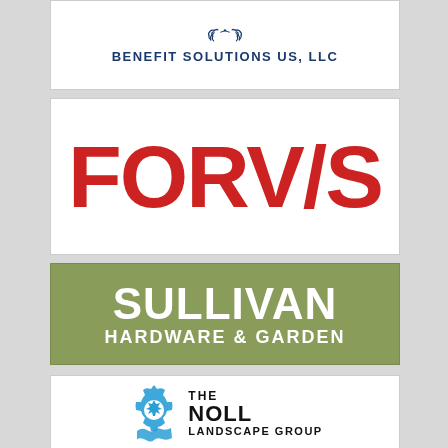[Figure (logo): Benefit Solutions US, LLC logo with wreath icon above blue text]
[Figure (logo): FORVIS logo in large bold red text on white background]
[Figure (logo): Sullivan Hardware & Garden logo in white bold text on olive/sage green background]
[Figure (logo): The Noll Landscape Group logo with blue gear/leaf icon and black text]